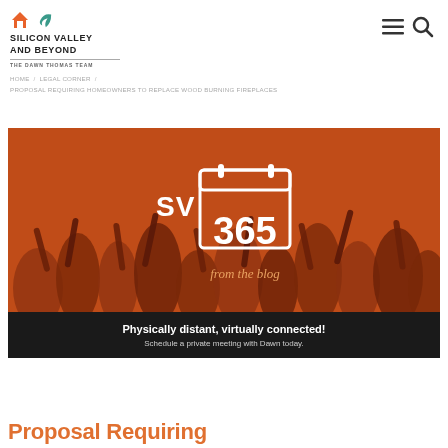SILICON VALLEY and BEYOND — THE DAWN THOMAS TEAM
HOME / LEGAL CORNER / PROPOSAL REQUIRING HOMEOWNERS TO REPLACE WOOD BURNING FIREPLACES
[Figure (photo): Orange-tinted photo of crowd with SV 365 from the blog calendar logo overlay, and a dark banner reading 'Physically distant, virtually connected! Schedule a private meeting with Dawn today.']
Proposal Requiring